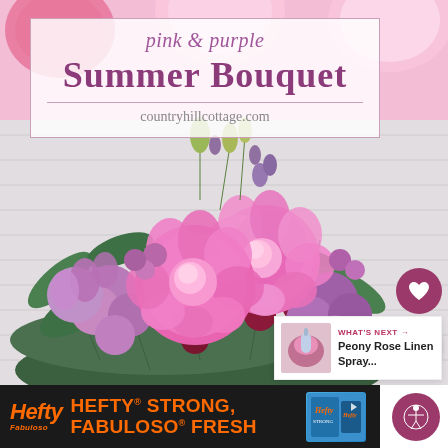[Figure (photo): Pink and purple summer flower bouquet with peonies and other blooms, photographed against a white shiplap wall background with pink paper decorations above. Title overlay box with text 'pink & purple Summer Bouquet' and website URL.]
pink & purple Summer Bouquet
countryhillcottage.com
WHAT'S NEXT → Peony Rose Linen Spray...
[Figure (infographic): Hefty STRONG, FABULOSO FRESH advertisement banner on black background with orange text and product imagery]